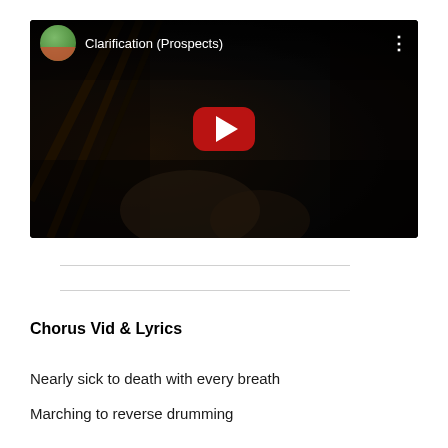[Figure (screenshot): YouTube video thumbnail showing a person playing a string instrument (appears to be a bass or cello) in a dark setting. The video title reads 'Clarification (Prospects)' with a channel avatar on the upper left, a red YouTube play button in the center, and a three-dot menu icon in the upper right.]
Chorus Vid & Lyrics
Nearly sick to death with every breath
Marching to reverse drumming